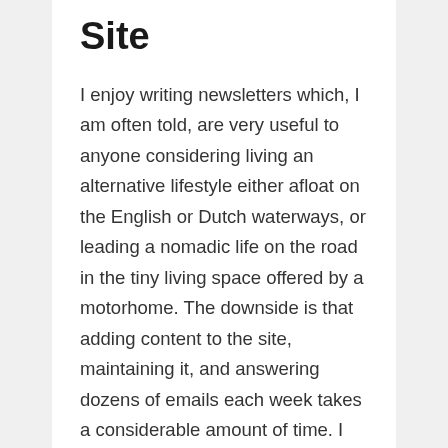Site
I enjoy writing newsletters which, I am often told, are very useful to anyone considering living an alternative lifestyle either afloat on the English or Dutch waterways, or leading a nomadic life on the road in the tiny living space offered by a motorhome. The downside is that adding content to the site, maintaining it, and answering dozens of emails each week takes a considerable amount of time. I invest up to twenty hours every week on the site and, over the course of the year, many hundreds of pounds. I can't afford the investment in either time or money without a little help. If you are in the fortunate position to be able to afford